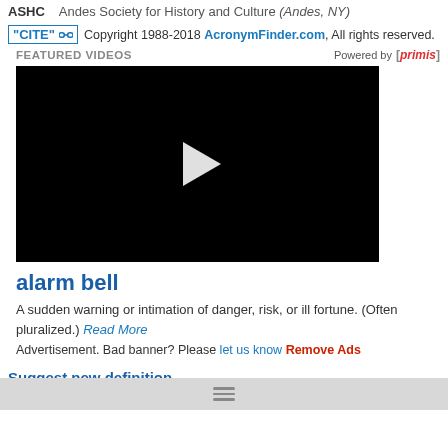ASHC   Andes Society for History and Culture (Andes, NY)
"CITE" [link icon] Copyright 1988-2018 AcronymFinder.com, All rights reserved.
FEATURED VIDEOS   Powered by [primis]
[Figure (screenshot): Black video player with white play button triangle in center]
alarm bell
A sudden warning or intimation of danger, risk, or ill fortune. (Often pluralized.) Read More
Advertisement. Bad banner? Please let us know Remove Ads
Suggest new definition